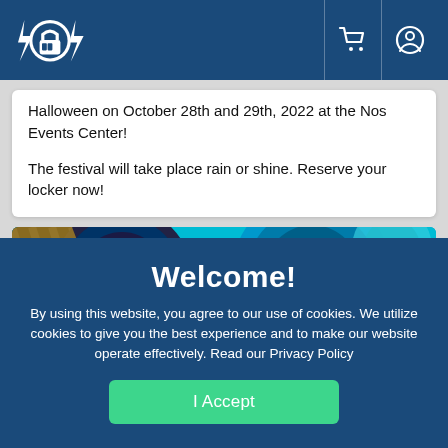Header navigation bar with logo, cart icon, and account icon
Halloween on October 28th and 29th, 2022 at the Nos Events Center!
The festival will take place rain or shine. Reserve your locker now!
[Figure (photo): Colorful graphic with vinyl records in blue, teal, and yellow tones, partially visible. Text 'LOCKERS' appears on a dark banner overlay.]
Welcome!
By using this website, you agree to our use of cookies. We utilize cookies to give you the best experience and to make our website operate effectively. Read our Privacy Policy
I Accept